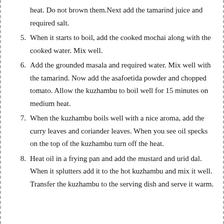heat. Do not brown them.Next add the tamarind juice and required salt.
5. When it starts to boil, add the cooked mochai along with the cooked water. Mix well.
6. Add the grounded masala and required water. Mix well with the tamarind. Now add the asafoetida powder and chopped tomato. Allow the kuzhambu to boil well for 15 minutes on medium heat.
7. When the kuzhambu boils well with a nice aroma, add the curry leaves and coriander leaves. When you see oil specks on the top of the kuzhambu turn off the heat.
8. Heat oil in a frying pan and add the mustard and urid dal. When it splutters add it to the hot kuzhambu and mix it well. Transfer the kuzhambu to the serving dish and serve it warm.